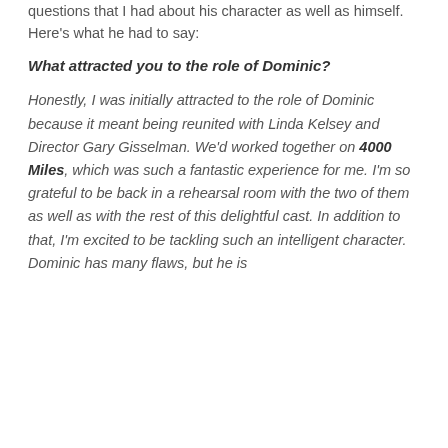questions that I had about his character as well as himself. Here's what he had to say:
What attracted you to the role of Dominic?
Honestly, I was initially attracted to the role of Dominic because it meant being reunited with Linda Kelsey and Director Gary Gisselman. We'd worked together on 4000 Miles, which was such a fantastic experience for me. I'm so grateful to be back in a rehearsal room with the two of them as well as with the rest of this delightful cast. In addition to that, I'm excited to be tackling such an intelligent character. Dominic has many flaws, but he is